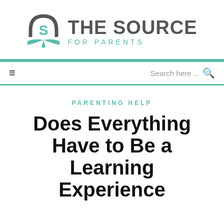[Figure (logo): The Source for Parents logo: teal book/shield icon with stylized S, bold gray uppercase THE SOURCE text, teal FOR PARENTS subtitle]
PARENTING HELP
Does Everything Have to Be a Learning Experience